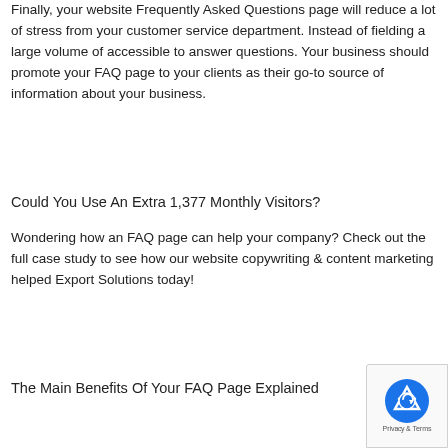Finally, your website Frequently Asked Questions page will reduce a lot of stress from your customer service department. Instead of fielding a large volume of accessible to answer questions. Your business should promote your FAQ page to your clients as their go-to source of information about your business.
Could You Use An Extra 1,377 Monthly Visitors?
Wondering how an FAQ page can help your company? Check out the full case study to see how our website copywriting & content marketing helped Export Solutions today!
The Main Benefits Of Your FAQ Page Explained